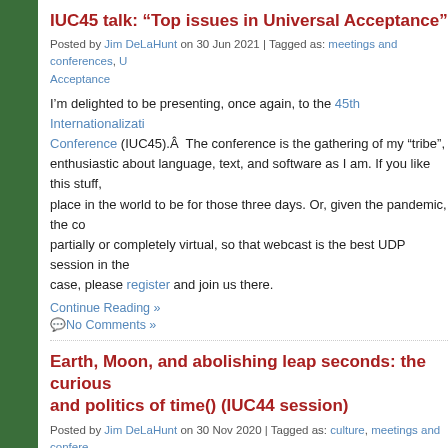IUC45 talk: “Top issues in Universal Acceptance”
Posted by Jim DeLaHunt on 30 Jun 2021 | Tagged as: meetings and conferences, Universal Acceptance
I’m delighted to be presenting, once again, to the 45th Internationalization Conference (IUC45).Â The conference is the gathering of my “tribe”, enthusiastic about language, text, and software as I am. If you like this stuff, place in the world to be for those three days. Or, given the pandemic, the conference partially or completely virtual, so that webcast is the best UDP session in the case, please register and join us there.
Continue Reading »
No Comments »
Earth, Moon, and abolishing leap seconds: the curious astronomy and politics of time() (IUC44 session)
Posted by Jim DeLaHunt on 30 Nov 2020 | Tagged as: culture, meetings and conferences
Last month was the pandemic-distanced rendition of the Internationalization Conference. This year is the 44th conference, or IUC44.Â In addition to a tu about last month), I delivered a presentation: Earth, Moon, and abolishing leap seconds: the curious astronomy and politics of time().Â Here are my slides, and a video of through my slides.